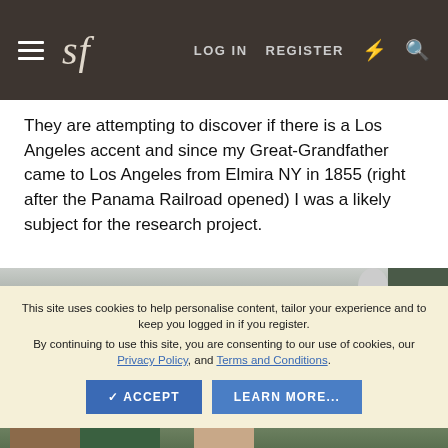sf — LOG IN   REGISTER
They are attempting to discover if there is a Los Angeles accent and since my Great-Grandfather came to Los Angeles from Elmira NY in 1855 (right after the Panama Railroad opened) I was a likely subject for the research project.
[Figure (photo): Partial photo strip showing top of an outdoor scene, partially obscured by cookie consent overlay]
This site uses cookies to help personalise content, tailor your experience and to keep you logged in if you register.
By continuing to use this site, you are consenting to our use of cookies, our Privacy Policy, and Terms and Conditions.
[Figure (photo): Bottom portion of photo showing an older man with glasses outdoors, with trees and a building in the background]